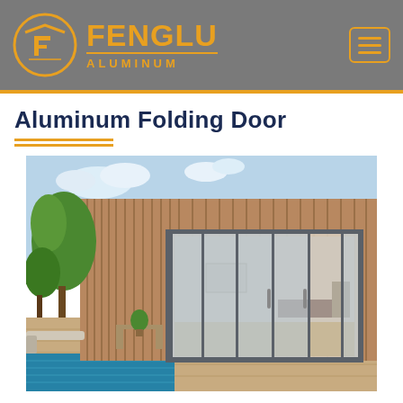FENGLU ALUMINUM
Aluminum Folding Door
[Figure (photo): Architectural photo of an aluminum folding door system installed on a modern residential building with wood cladding facade, outdoor pool deck in foreground, green trees in background, interior room visible through large glass panels.]